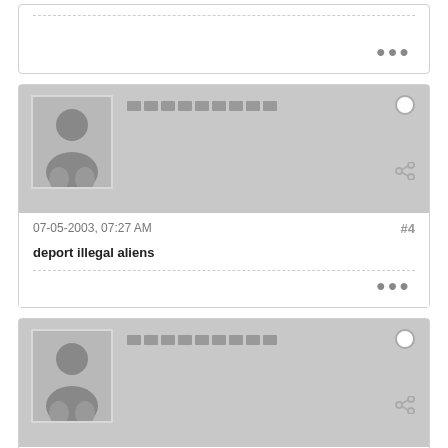[Figure (screenshot): Partial forum post card showing dotted separator and three-dot menu at bottom right]
[Figure (screenshot): Forum post #4 user card with anonymous avatar and username bar]
07-05-2003, 07:27 AM
#4
deport illegal aliens
[Figure (screenshot): Forum post #5 user card with anonymous avatar and username bar]
07-05-2003, 01:47 PM
#5
I thought the ac21 portability is only available to h1b categories.